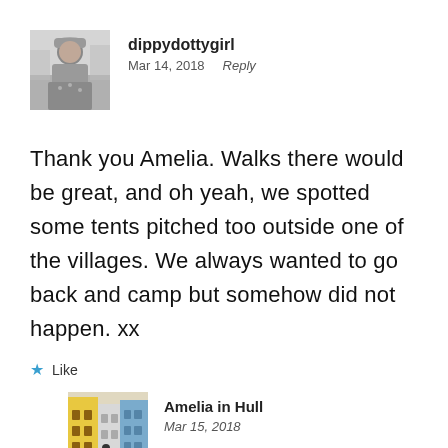[Figure (photo): Black and white profile photo of a young girl, avatar for user dippydottygirl]
dippydottygirl
Mar 14, 2018   Reply
Thank you Amelia. Walks there would be great, and oh yeah, we spotted some tents pitched too outside one of the villages. We always wanted to go back and camp but somehow did not happen. xx
★ Like
[Figure (photo): Color photo of colorful building facades on a street, avatar for user Amelia in Hull]
Amelia in Hull
Mar 15, 2018